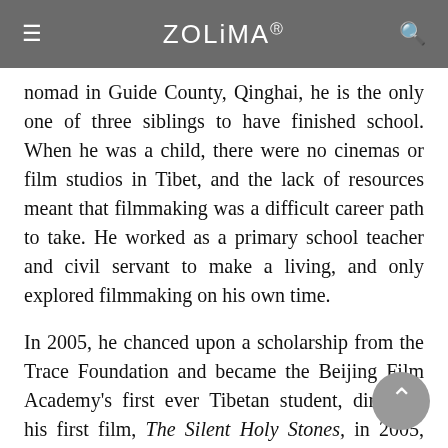≡  ZOLiMA®  🔍
nomad in Guide County, Qinghai, he is the only one of three siblings to have finished school. When he was a child, there were no cinemas or film studios in Tibet, and the lack of resources meant that filmmaking was a difficult career path to take. He worked as a primary school teacher and civil servant to make a living, and only explored filmmaking on his own time.
In 2005, he chanced upon a scholarship from the Trace Foundation and became the Beijing Film Academy's first ever Tibetan student, directing his first film, The Silent Holy Stones, in 2005, which earned him the 13th Golden Rooster Award for Best Directorial Debut. Since then, Pema Tseden has directed nine films, including